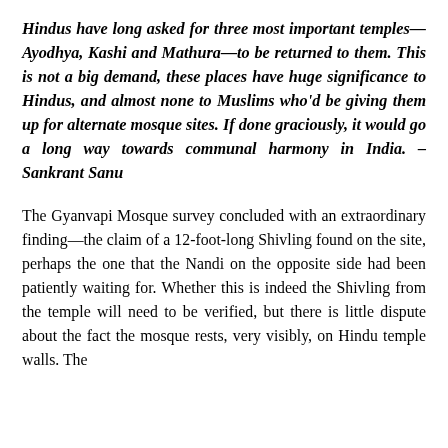Hindus have long asked for three most important temples—Ayodhya, Kashi and Mathura—to be returned to them. This is not a big demand, these places have huge significance to Hindus, and almost none to Muslims who'd be giving them up for alternate mosque sites. If done graciously, it would go a long way towards communal harmony in India. – Sankrant Sanu
The Gyanvapi Mosque survey concluded with an extraordinary finding—the claim of a 12-foot-long Shivling found on the site, perhaps the one that the Nandi on the opposite side had been patiently waiting for. Whether this is indeed the Shivling from the temple will need to be verified, but there is little dispute about the fact the mosque rests, very visibly, on Hindu temple walls. The